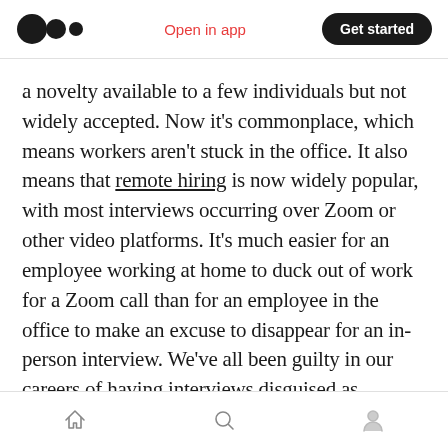Open in app | Get started
a novelty available to a few individuals but not widely accepted. Now it’s commonplace, which means workers aren’t stuck in the office. It also means that remote hiring is now widely popular, with most interviews occurring over Zoom or other video platforms. It’s much easier for an employee working at home to duck out of work for a Zoom call than for an employee in the office to make an excuse to disappear for an in-person interview. We’ve all been guilty in our careers of having interviews disguised as medical appointments.
Home | Search | Profile